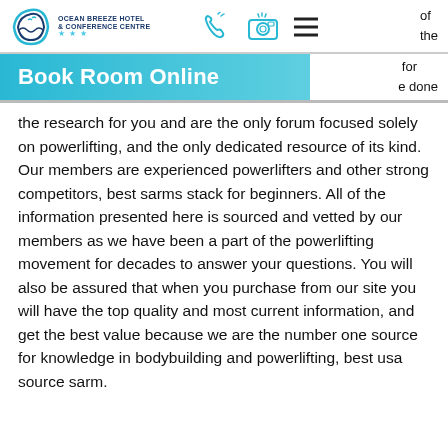Ocean Breeze Hotel & Conference Centre
Book Room Online
of the for e done the research for you and are the only forum focused solely on powerlifting, and the only dedicated resource of its kind. Our members are experienced powerlifters and other strong competitors, best sarms stack for beginners. All of the information presented here is sourced and vetted by our members as we have been a part of the powerlifting movement for decades to answer your questions. You will also be assured that when you purchase from our site you will have the top quality and most current information, and get the best value because we are the number one source for knowledge in bodybuilding and powerlifting, best usa source sarm.